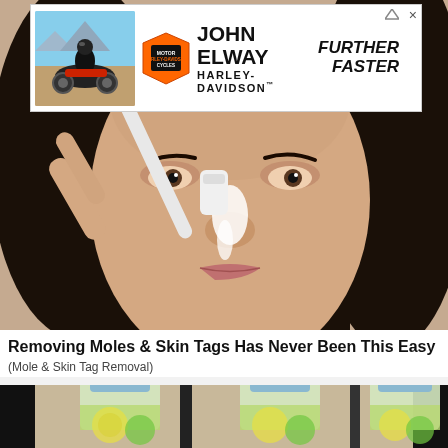[Figure (photo): Ad banner: John Elway Harley-Davidson advertisement with motorcycle image and shield logo, text 'JOHN ELWAY HARLEY-DAVIDSON FURTHER FASTER']
[Figure (photo): Main article photo: Woman applying white substance to nose with a toothbrush, close-up beauty/skincare image]
Removing Moles & Skin Tags Has Never Been This Easy
(Mole & Skin Tag Removal)
[Figure (photo): Bottom image: Three small plastic bottles with yellow-green liquid (lemon/lime infused water or similar beverage), partially cropped]